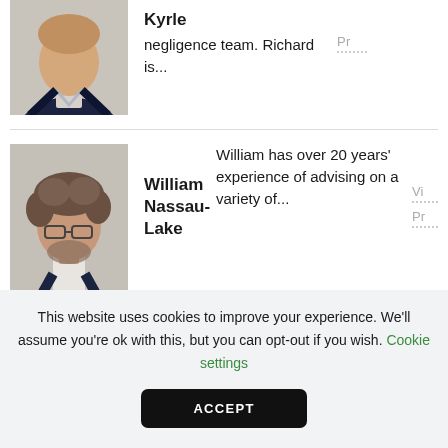[Figure (photo): Headshot photo of Richard Kyrle, a man in a dark suit with light shirt]
Kyrle
negligence team. Richard is...
[Figure (photo): Headshot photo of William Nassau-Lake, a man with curly hair, beard, and glasses in a dark jacket]
William Nassau-Lake
William has over 20 years' experience of advising on a variety of...
This website uses cookies to improve your experience. We'll assume you're ok with this, but you can opt-out if you wish. Cookie settings
ACCEPT